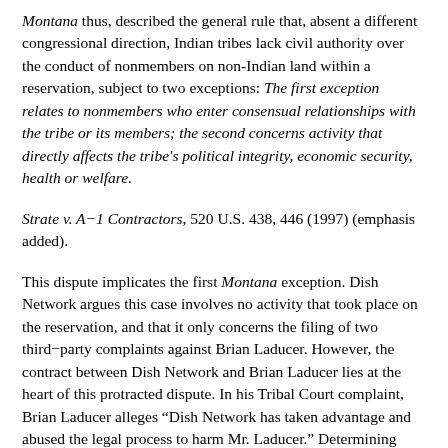Montana thus, described the general rule that, absent a different congressional direction, Indian tribes lack civil authority over the conduct of nonmembers on non-Indian land within a reservation, subject to two exceptions: The first exception relates to nonmembers who enter consensual relationships with the tribe or its members; the second concerns activity that directly affects the tribe's political integrity, economic security, health or welfare.
Strate v. A-1 Contractors, 520 U.S. 438, 446 (1997) (emphasis added).
This dispute implicates the first Montana exception. Dish Network argues this case involves no activity that took place on the reservation, and that it only concerns the filing of two third-party complaints against Brian Laducer. However, the contract between Dish Network and Brian Laducer lies at the heart of this protracted dispute. In his Tribal Court complaint, Brian Laducer alleges “Dish Network has taken advantage and abused the legal process to harm Mr. Laducer.” Determining whether Dish Network abused the legal process will